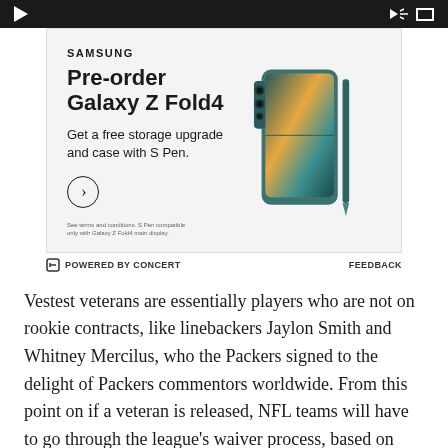[Figure (screenshot): Samsung advertisement for Galaxy Z Fold4 pre-order. Shows phone image with text: Pre-order Galaxy Z Fold4, Get a free storage upgrade and case with S Pen. Fine print at bottom.]
⊟ POWERED BY CONCERT    FEEDBACK
Vestest veterans are essentially players who are not on rookie contracts, like linebackers Jaylon Smith and Whitney Mercilus, who the Packers signed to the delight of Packers commentors worldwide. From this point on if a veteran is released, NFL teams will have to go through the league's waiver process, based on